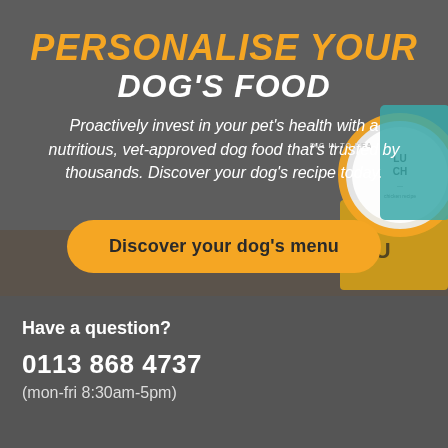PERSONALISE YOUR DOG'S FOOD
Proactively invest in your pet's health with a nutritious, vet-approved dog food that's trusted by thousands. Discover your dog's recipe today.
Discover your dog's menu
[Figure (photo): Product packaging of dog food with yellow label and teal/yellow can/bag in background]
Have a question?
0113 868 4737
(mon-fri 8:30am-5pm)